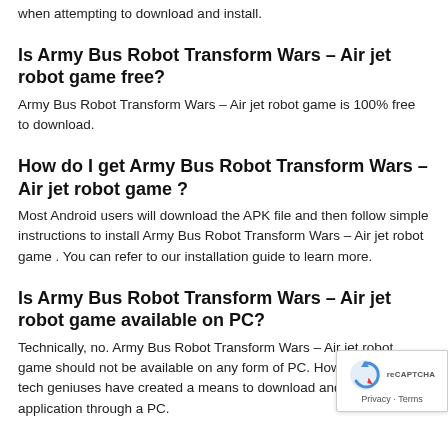when attempting to download and install.
Is Army Bus Robot Transform Wars – Air jet robot game free?
Army Bus Robot Transform Wars – Air jet robot game is 100% free to download.
How do I get Army Bus Robot Transform Wars – Air jet robot game ?
Most Android users will download the APK file and then follow simple instructions to install Army Bus Robot Transform Wars – Air jet robot game . You can refer to our installation guide to learn more.
Is Army Bus Robot Transform Wars – Air jet robot game available on PC?
Technically, no. Army Bus Robot Transform Wars – Air jet robot game should not be available on any form of PC. However, a few tech geniuses have created a means to download and install the application through a PC.
[Figure (logo): reCAPTCHA badge with spinning arrow logo and Privacy · Terms text]